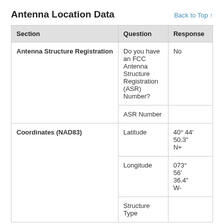Antenna Location Data
Back to Top ↑
| Section | Question | Response |
| --- | --- | --- |
| Antenna Structure Registration | Do you have an FCC Antenna Structure Registration (ASR) Number? | No |
|  | ASR Number |  |
| Coordinates (NAD83) | Latitude | 40° 44' 50.3" N+ |
|  | Longitude | 073° 56' 36.4" W- |
|  | Structure Type |  |